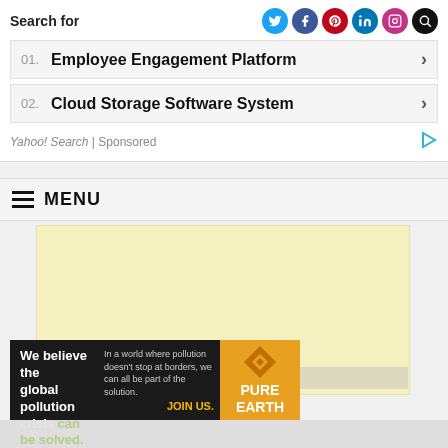Search for
01.  Employee Engagement Platform  >
02.  Cloud Storage Software System  >
Yahoo! Search | Sponsored
MENU
[Figure (other): Yellow advertisement placeholder banner]
[Figure (other): Pure Earth advertisement banner: 'We believe the global pollution crisis can be solved. In a world where pollution doesn't stop at borders, we can all be part of the solution. JOIN US.' with Pure Earth logo.]